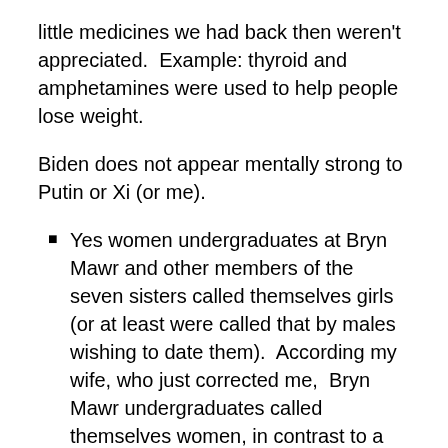little medicines we had back then weren't appreciated. Example: thyroid and amphetamines were used to help people lose weight.
Biden does not appear mentally strong to Putin or Xi (or me).
Yes women undergraduates at Bryn Mawr and other members of the seven sisters called themselves girls (or at least were called that by males wishing to date them). According my wife, who just corrected me, Bryn Mawr undergraduates called themselves women, in contrast to a nearby educational institution which advertised “Are you a Harcum Girl?” Similarly, 10 years later Native Americans in Montana called themselves Indians, not having the benefit of the linguistic and moral improvements to which we have